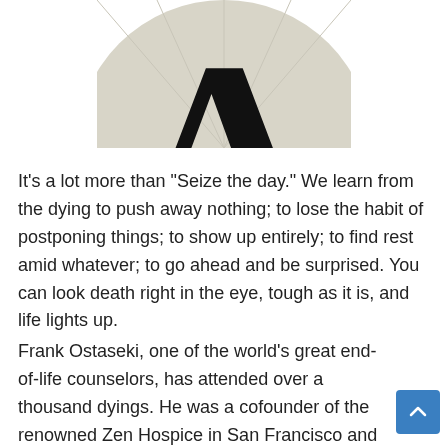[Figure (logo): Partial view of a large black letter A on a light gray/beige circular background, cropped at the top]
It's a lot more than "Seize the day." We learn from the dying to push away nothing; to lose the habit of postponing things; to show up entirely; to find rest amid whatever; to go ahead and be surprised. You can look death right in the eye, tough as it is, and life lights up.
Frank Ostaseki, one of the world's great end-of-life counselors, has attended over a thousand dyings. He was a cofounder of the renowned Zen Hospice in San Francisco and is the author of a new book, The Five Invitations: Discovering What Death Can